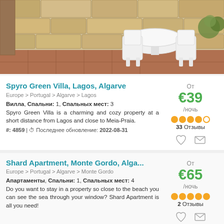[Figure (photo): Outdoor stone wall patio with white plastic table and chairs, terracotta tile floor]
Spyro Green Villa, Lagos, Algarve
Europe > Portugal > Algarve > Lagos
Вилла, Спальни: 1, Спальных мест: 3
Spyro Green Villa is a charming and cozy property at a short distance from Lagos and close to Meia-Praia.
#: 4859 | Последнее обновление: 2022-08-31
От €39 /ночь 33 Отзывы
Shard Apartment, Monte Gordo, Alga...
Europe > Portugal > Algarve > Monte Gordo
Апартаменты, Спальни: 1, Спальных мест: 4
Do you want to stay in a property so close to the beach you can see the sea through your window? Shard Apartment is all you need!
От €65 /ночь 2 Отзывы